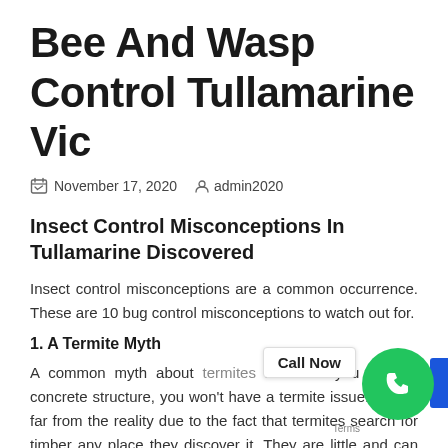Bee And Wasp Control Tullamarine Vic
November 17, 2020   admin2020
Insect Control Misconceptions In Tullamarine Discovered
Insect control misconceptions are a common occurrence. These are 10 bug control misconceptions to watch out for.
1. A Termite Myth
A common myth about termites is that if you have a concrete structure, you won't have a termite issue. This is far from the reality due to the fact that termites search for timber any place they discover it. They are little and can find...